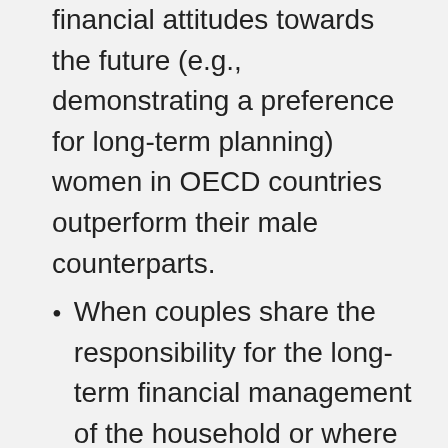financial attitudes towards the future (e.g., demonstrating a preference for long-term planning) women in OECD countries outperform their male counterparts.
When couples share the responsibility for the long-term financial management of the household or where women’s contribution to household income is similar to that of their male partner, there is no gender difference in financial knowledge